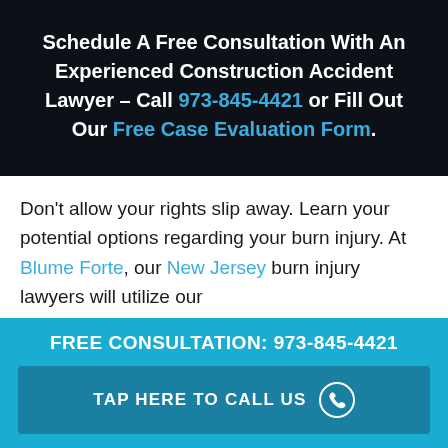Schedule A Free Consultation With An Experienced Construction Accident Lawyer – Call 973-845-4421 or Fill Out Our Free Case Evaluation Form.
Don't allow your rights slip away. Learn your potential options regarding your burn injury. At Blume Forte, our New Jersey burn injury lawyers will utilize our
FREE CONSULTATION: 973-845-4421
TAP HERE TO CALL US